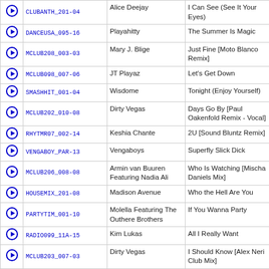|  | Code | Artist | Title |
| --- | --- | --- | --- |
| ▶ | CLUBANTH_201-04 | Alice Deejay | I Can See (See It Your Eyes) |
| ▶ | DANCEUSA_095-16 | Playahitty | The Summer Is Magic |
| ▶ | MCLUB208_003-03 | Mary J. Blige | Just Fine [Moto Blanco Remix] |
| ▶ | MCLUB098_007-06 | JT Playaz | Let's Get Down |
| ▶ | SMASHHIT_001-04 | Wisdome | Tonight (Enjoy Yourself) |
| ▶ | MCLUB202_010-08 | Dirty Vegas | Days Go By [Paul Oakenfold Remix - Vocal] |
| ▶ | RHYTMR07_002-14 | Keshia Chante | 2U [Sound Bluntz Remix] |
| ▶ | VENGABOY_PAR-13 | Vengaboys | Superfly Slick Dick |
| ▶ | MCLUB206_008-08 | Armin van Buuren Featuring Nadia Ali | Who Is Watching [Mischa Daniels Mix] |
| ▶ | HOUSEMIX_201-08 | Madison Avenue | Who the Hell Are You |
| ▶ | PARTYTIM_001-10 | Molella Featuring The Outhere Brothers | If You Wanna Party |
| ▶ | RADIO099_11A-15 | Kim Lukas | All I Really Want |
| ▶ | MCLUB203_007-03 | Dirty Vegas | I Should Know [Alex Neri Club Mix] |
| ▶ | RHYTMR07_011-16 | DJ Antoine | This Time [DJ Antoine vs. Mad Mark Club Mix] |
| ▶ | DANCEMIX_093-06 | Bizarre Inc. Featuring Angie Brown | Took My Love |
| ▶ | DSCODNCE_002-15 | Gusto | Let's All Chant |
| ▶ | RHYTMR06_003-15 | Depeche Mode | Precious [Sahsa's Gargantuan Vocal Mix] |
| ▶ | DANCEUSA_095-05 | Inner City | Follow Your Heart |
| ▶ | CLUBCUTZ_201-13 | Supercar | Tonite |